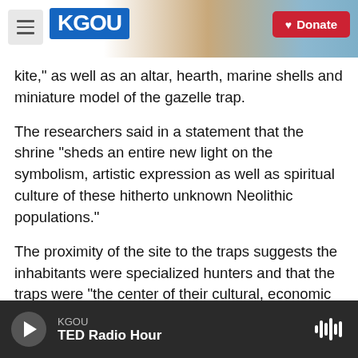KGOU | Donate
kite," as well as an altar, hearth, marine shells and miniature model of the gazelle trap.
The researchers said in a statement that the shrine "sheds an entire new light on the symbolism, artistic expression as well as spiritual culture of these hitherto unknown Neolithic populations."
The proximity of the site to the traps suggests the inhabitants were specialized hunters and that the traps were "the center of their cultural, economic and even symbolic life in this marginal zone," the statement said.
KGOU | TED Radio Hour